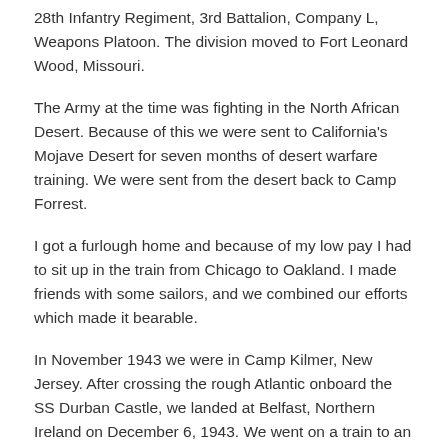28th Infantry Regiment, 3rd Battalion, Company L, Weapons Platoon. The division moved to Fort Leonard Wood, Missouri.
The Army at the time was fighting in the North African Desert. Because of this we were sent to California's Mojave Desert for seven months of desert warfare training. We were sent from the desert back to Camp Forrest.
I got a furlough home and because of my low pay I had to sit up in the train from Chicago to Oakland. I made friends with some sailors, and we combined our efforts which made it bearable.
In November 1943 we were in Camp Kilmer, New Jersey. After crossing the rough Atlantic onboard the SS Durban Castle, we landed at Belfast, Northern Ireland on December 6, 1943. We went on a train to an estate six